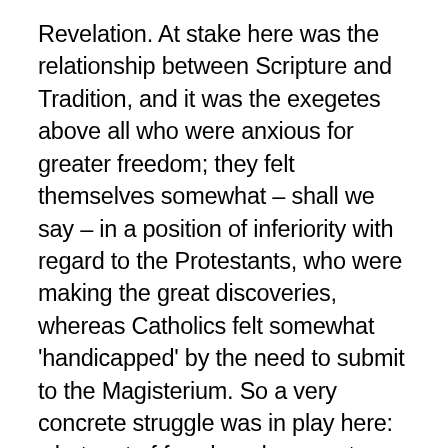Revelation. At stake here was the relationship between Scripture and Tradition, and it was the exegetes above all who were anxious for greater freedom; they felt themselves somewhat – shall we say – in a position of inferiority with regard to the Protestants, who were making the great discoveries, whereas Catholics felt somewhat 'handicapped' by the need to submit to the Magisterium. So a very concrete struggle was in play here: what sort of freedom do exegetes have? How does one properly read Scripture? What is the meaning of Tradition? It was a multifaceted struggle which I cannot go into now, but the important thing, for sure, is that Scripture is the word of God and that the Church is under Scripture, the Church obeys God's word and does not stand